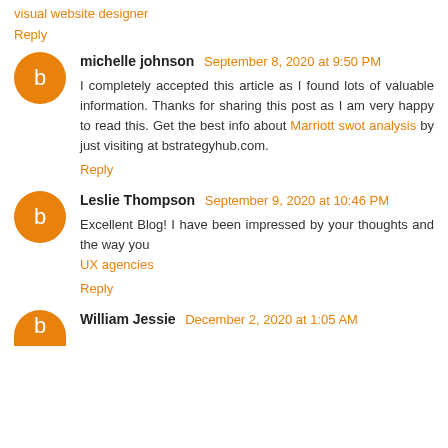visual website designer
Reply
michelle johnson  September 8, 2020 at 9:50 PM
I completely accepted this article as I found lots of valuable information. Thanks for sharing this post as I am very happy to read this. Get the best info about Marriott swot analysis by just visiting at bstrategyhub.com.
Reply
Leslie Thompson  September 9, 2020 at 10:46 PM
Excellent Blog! I have been impressed by your thoughts and the way you
UX agencies
Reply
William Jessie  December 2, 2020 at 1:05 AM